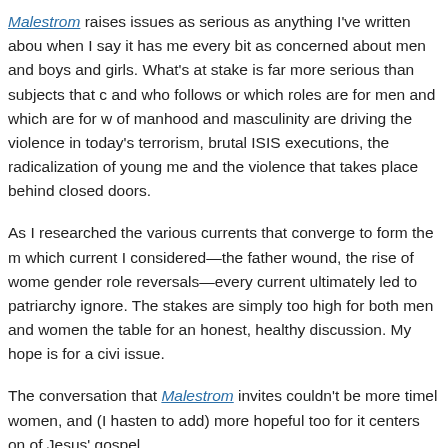Malestrom raises issues as serious as anything I've written about when I say it has me every bit as concerned about men and boys and girls. What's at stake is far more serious than subjects that and who follows or which roles are for men and which are for w of manhood and masculinity are driving the violence in today's terrorism, brutal ISIS executions, the radicalization of young me and the violence that takes place behind closed doors.
As I researched the various currents that converge to form the m which current I considered—the father wound, the rise of wome gender role reversals—every current ultimately led to patriarchy ignore. The stakes are simply too high for both men and women the table for an honest, healthy discussion. My hope is for a civi issue.
The conversation that Malestrom invites couldn't be more timel women, and (I hasten to add) more hopeful too for it centers on of Jesus' gospel.